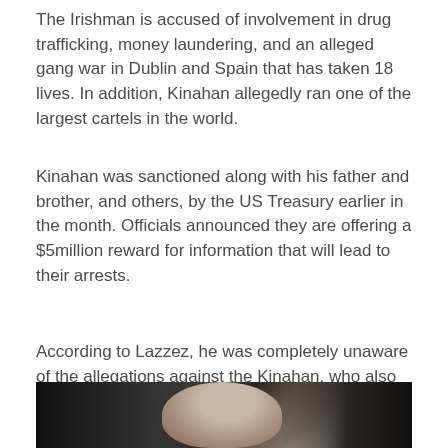The Irishman is accused of involvement in drug trafficking, money laundering, and an alleged gang war in Dublin and Spain that has taken 18 lives. In addition, Kinahan allegedly ran one of the largest cartels in the world.
Kinahan was sanctioned along with his father and brother, and others, by the US Treasury earlier in the month. Officials announced they are offering a $5million reward for information that will lead to their arrests.
According to Lazzez, he was completely unaware of the allegations against the Kinahan, who also managed Boxing champion, Tyson Fury.
[Figure (photo): A partially visible photograph showing a person's face/head in a dark indoor environment, cropped at the bottom of the page.]